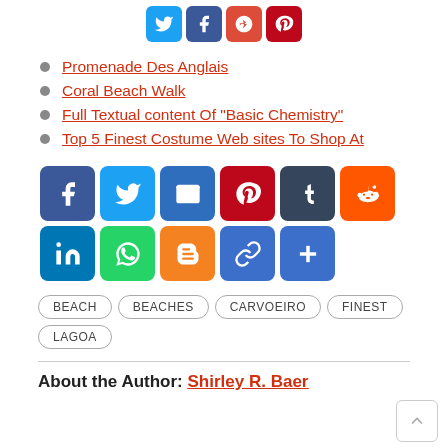[Figure (other): Top social share bar with Twitter (blue), Facebook (dark blue), Google+ (red), Pinterest (dark red) icon buttons]
Promenade Des Anglais
Coral Beach Walk
Full Textual content Of "Basic Chemistry"
Top 5 Finest Costume Web sites To Shop At
[Figure (other): Social share icons grid: Facebook, Twitter, Email, Pinterest, Tumblr, Reddit, LinkedIn, WhatsApp, Blogger, Copy Link, Share More]
BEACH  BEACHES  CARVOEIRO  FINEST  LAGOA
About the Author: Shirley R. Baer